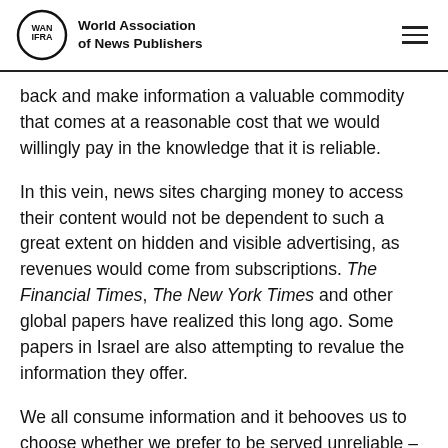World Association of News Publishers
back and make information a valuable commodity that comes at a reasonable cost that we would willingly pay in the knowledge that it is reliable.
In this vein, news sites charging money to access their content would not be dependent to such a great extent on hidden and visible advertising, as revenues would come from subscriptions. The Financial Times, The New York Times and other global papers have realized this long ago. Some papers in Israel are also attempting to revalue the information they offer.
We all consume information and it behooves us to choose whether we prefer to be served unreliable – albeit free – information, sponsored by parties at interest, or pay for credible information that